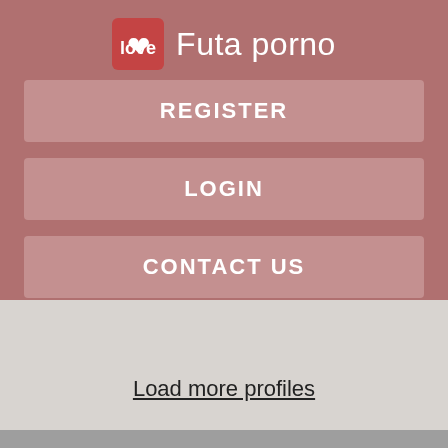Futa porno
REGISTER
LOGIN
CONTACT US
tight wives Guadalupe
cutie woman Leanna
naughty moms Kylee
fit girlfriend Khalani
ebony woman Aleah
Load more profiles